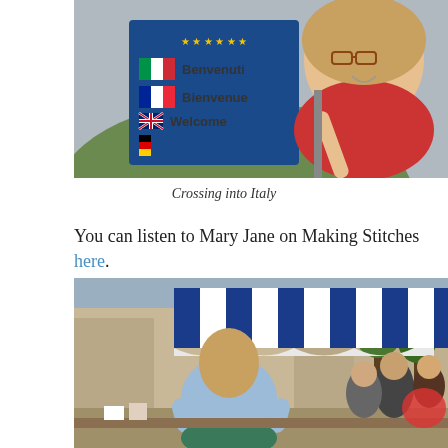[Figure (photo): Woman smiling and leaning out near a European border crossing sign showing 'Benvenuti', 'Bienvenue', 'Welcome' with Italian, French, and British flags, and a European Union flag in the background.]
Crossing into Italy
You can listen to Mary Jane on Making Stitches here.
[Figure (photo): Outdoor market scene with a woman seen from behind wearing a light denim jacket, with a blue and white striped awning and crowds of people browsing market stalls in an urban setting.]